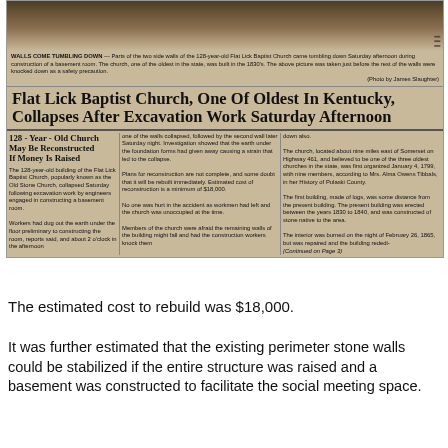[Figure (photo): Newspaper clipping with photo of church ruins at top, followed by article about Flat Lick Baptist Church collapse.]
WALLS COME TUMBLING DOWN — Parts of the two side walls of the 128-year-old Flat Lick Baptist Church came tumbling down Saturday afternoon during construction of a basement room. The church, one of the oldest in the state, was built in the 1830's. The above picture was taken just before the rest of the walls were knocked down as a safety precaution. (Photo by James Slaughter)
Flat Lick Baptist Church, One Of Oldest In Kentucky, Collapses After Excavation Work Saturday Afternoon
128-Year-Old Church May Be Reconstructed If Money Is Raised
The 128-year-old building of the Flat Lick Baptist Church, popularly known as the Old Stone Church, collapsed Saturday following excavation work by engineers engaged in constructing a basement room.

Workers had dug out the earth under the floor preliminary to constructing the room, reports said, and about 2 o'clock in the afternoon one of the walls collapsed, followed by the second wall later Saturday night. Investigation showed that the earth under the foundation forms had given away causing a strain that led to the collapse.

Plans for reconstruction are not complete, and some doubt that it will be rebuilt immediately. Estimated cost of reconstruction is a minimum of $18,000.

No one was hurt in the accident as workmen had left and the church was unoccupied at the time.

Members of the church were afraid the remaining walls of the building might fall and had the construction workers knock them down also.

The church, located about nine miles east of Somerset on Highway 461, and believed to be one of the three oldest churches in the state, was first organized January 4, 1799, with nine members, according to Mrs. Alma Owens Tibbals, in her History of Pulaski County.

The first building, made of logs, was some distance from the present building. The present building was erected between the years 1830 to 1840, and was constructed of stone native to the area.

The interior was burned on the night of February 26, 1865, but was repaired and the building rededi- (Continued on Page 3)
The estimated cost to rebuild was $18,000.
It was further estimated that the existing perimeter stone walls could be stabilized if the entire structure was raised and a basement was constructed to facilitate the social meeting space.